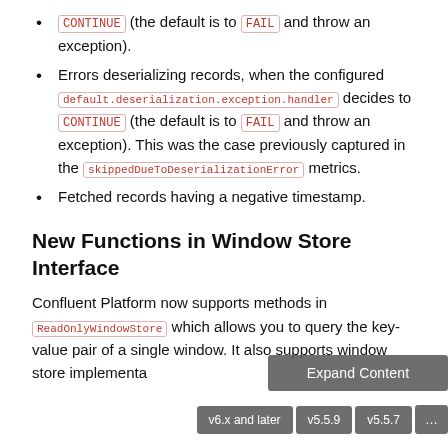CONTINUE (the default is to FAIL and throw an exception).
Errors deserializing records, when the configured default.deserialization.exception.handler decides to CONTINUE (the default is to FAIL and throw an exception). This was the case previously captured in the skippedDueToDeserializationError metrics.
Fetched records having a negative timestamp.
New Functions in Window Store Interface
Confluent Platform now supports methods in ReadOnlyWindowStore which allows you to query the key-value pair of a single window. It also supports window store implementation...